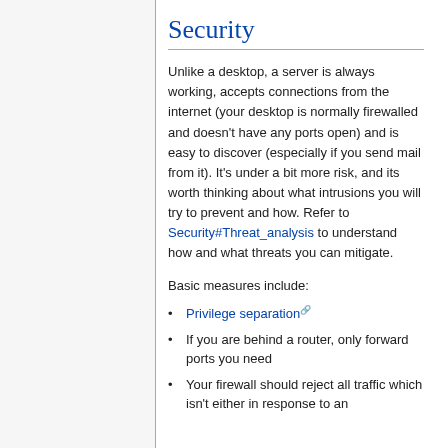Security
Unlike a desktop, a server is always working, accepts connections from the internet (your desktop is normally firewalled and doesn't have any ports open) and is easy to discover (especially if you send mail from it). It's under a bit more risk, and its worth thinking about what intrusions you will try to prevent and how. Refer to Security#Threat_analysis to understand how and what threats you can mitigate.
Basic measures include:
Privilege separation
If you are behind a router, only forward ports you need
Your firewall should reject all traffic which isn't either in response to an